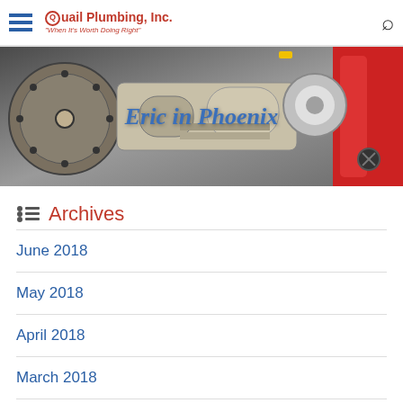Quail Plumbing, Inc. — "When It's Worth Doing Right"
[Figure (photo): Banner image showing plumbing hardware: shower head, pipe fittings, wrenches on a metallic background with 'Eric in Phoenix' overlaid text]
Archives
June 2018
May 2018
April 2018
March 2018